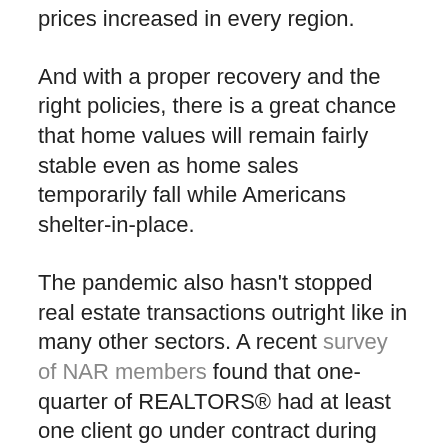prices increased in every region.
And with a proper recovery and the right policies, there is a great chance that home values will remain fairly stable even as home sales temporarily fall while Americans shelter-in-place.
The pandemic also hasn't stopped real estate transactions outright like in many other sectors. A recent survey of NAR members found that one-quarter of REALTORS® had at least one client go under contract during the second week of April without physically seeing the property. Deals are proceeding with the growing use of new technology like remote notarization.
Even those pausing their real estate transactions still plan to buy and sell once...